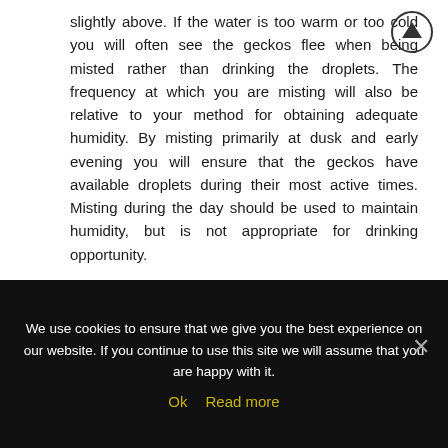slightly above. If the water is too warm or too cold you will often see the geckos flee when being misted rather than drinking the droplets. The frequency at which you are misting will also be relative to your method for obtaining adequate humidity. By misting primarily at dusk and early evening you will ensure that the geckos have available droplets during their most active times. Misting during the day should be used to maintain humidity, but is not appropriate for drinking opportunity.
Humidity
We use cookies to ensure that we give you the best experience on our website. If you continue to use this site we will assume that you are happy with it.